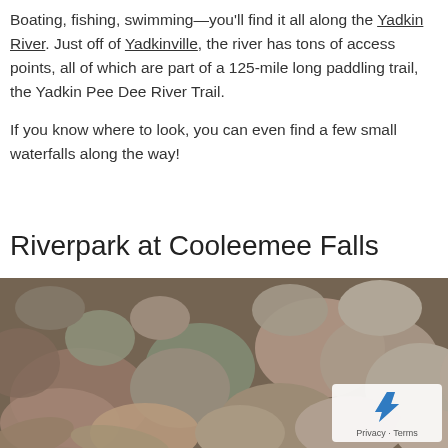Boating, fishing, swimming—you'll find it all along the Yadkin River. Just off of Yadkinville, the river has tons of access points, all of which are part of a 125-mile long paddling trail, the Yadkin Pee Dee River Trail.

If you know where to look, you can even find a few small waterfalls along the way!
Riverpark at Cooleemee Falls
[Figure (photo): Close-up photo of river rocks and stones in muted earth tones — browns, pinks, greys — filling the entire frame, with a reCAPTCHA privacy overlay in the bottom right corner.]